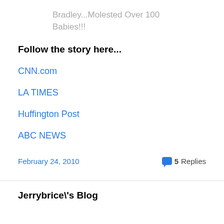Bradley...Molested Over 100 Babies!!!
Follow the story here...
CNN.com
LA TIMES
Huffington Post
ABC NEWS
February 24, 2010   5 Replies
Jerrybrice\'s Blog